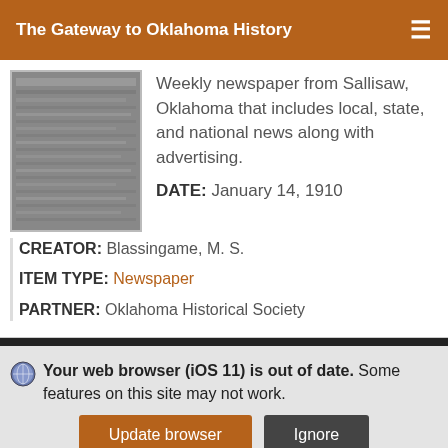The Gateway to Oklahoma History
Weekly newspaper from Sallisaw, Oklahoma that includes local, state, and national news along with advertising.
DATE: January 14, 1910
CREATOR: Blassingame, M. S.
ITEM TYPE: Newspaper
PARTNER: Oklahoma Historical Society
Your web browser (iOS 11) is out of date. Some features on this site may not work.